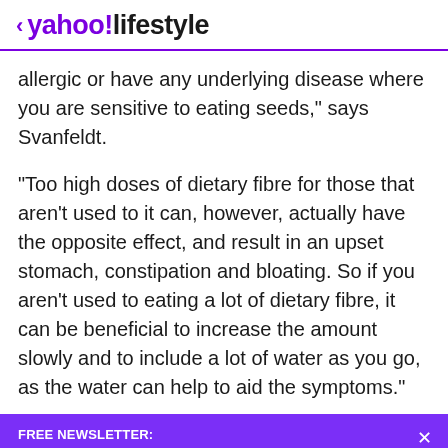< yahoo!lifestyle
allergic or have any underlying disease where you are sensitive to eating seeds," says Svanfeldt.
"Too high doses of dietary fibre for those that aren't used to it can, however, actually have the opposite effect, and result in an upset stomach, constipation and bloating. So if you aren't used to eating a lot of dietary fibre, it can be beneficial to increase the amount slowly and to include a lot of water as you go, as the water can help to aid the symptoms."
FREE NEWSLETTER: From MAFS, royals, health and hacks... Sign up here and never miss a thing!
View comments